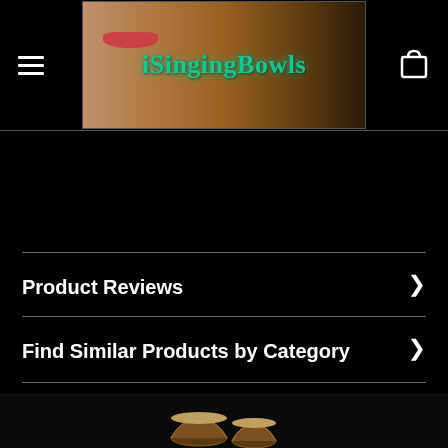iSingingBowls
Product Reviews
Find Similar Products by Category
Customers also viewed
[Figure (photo): Two small singing bowls at the bottom of the page]